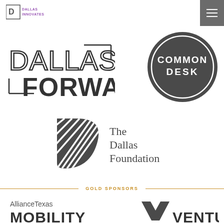[Figure (logo): Dallas Innovates logo - top left header]
[Figure (logo): Hamburger menu button - top right, gray background]
[Figure (logo): Dallas Forward logo - large text with geometric design, left side]
[Figure (logo): Common Desk logo - dark circle with white text]
[Figure (logo): The Dallas Foundation logo - dark D shape with diagonal lines and text]
GOLD SPONSORS
[Figure (logo): AllianceTexas Mobility logo - bottom left, partially cut off]
[Figure (logo): Venture logo with M icon - bottom right, partially cut off]